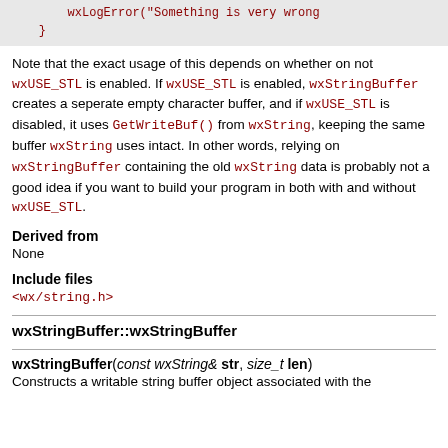[Figure (screenshot): Code block showing wxLogError and closing brace in monospace red text on grey background]
Note that the exact usage of this depends on whether on not wxUSE_STL is enabled. If wxUSE_STL is enabled, wxStringBuffer creates a seperate empty character buffer, and if wxUSE_STL is disabled, it uses GetWriteBuf() from wxString, keeping the same buffer wxString uses intact. In other words, relying on wxStringBuffer containing the old wxString data is probably not a good idea if you want to build your program in both with and without wxUSE_STL.
Derived from
None
Include files
<wx/string.h>
wxStringBuffer::wxStringBuffer
wxStringBuffer(const wxString& str, size_t len)
Constructs a writable string buffer object associated with the